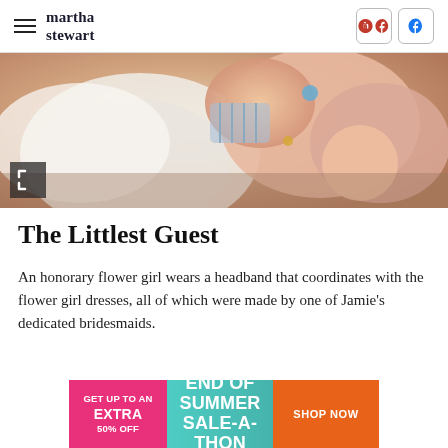martha stewart
[Figure (photo): Close-up photo of a baby in a pink outfit being dressed or held, with fabric and baby's hands visible]
The Littlest Guest
An honorary flower girl wears a headband that coordinates with the flower girl dresses, all of which were made by one of Jamie's dedicated bridesmaids.
[Figure (infographic): Advertisement banner: 'GET UP TO AN EXTRA 50% OFF' on pink background, 'END OF SUMMER SALE-A-THON' on teal background, 'SHOP NOW' on orange background]